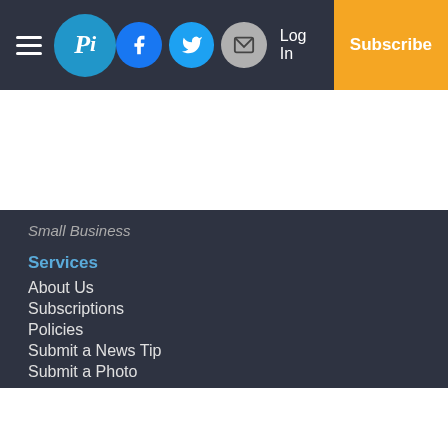Picayune Item — navigation bar with logo, social icons, Log In, Subscribe
Small Business
Services
About Us
Subscriptions
Policies
Submit a News Tip
Submit a Photo
Copyright
© 2022, Picayune Item